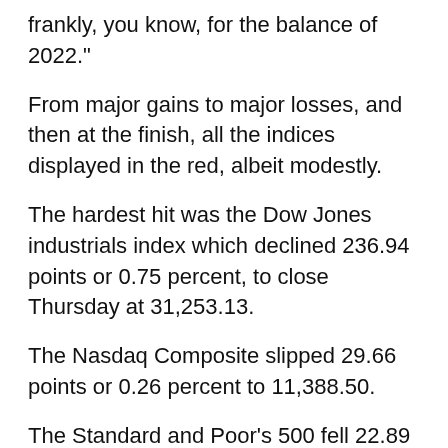frankly, you know, for the balance of 2022."
From major gains to major losses, and then at the finish, all the indices displayed in the red, albeit modestly.
The hardest hit was the Dow Jones industrials index which declined 236.94 points or 0.75 percent, to close Thursday at 31,253.13.
The Nasdaq Composite slipped 29.66 points or 0.26 percent to 11,388.50.
The Standard and Poor's 500 fell 22.89 points or 0.50 percent to 3,900.79